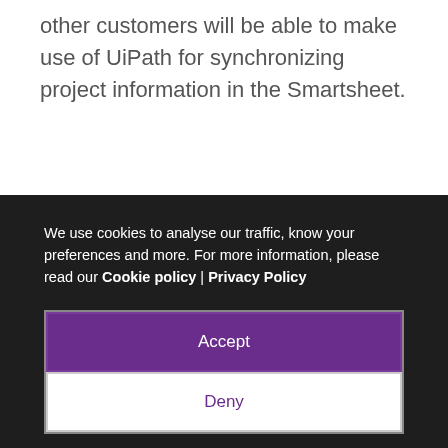other customers will be able to make use of UiPath for synchronizing project information in the Smartsheet.
We use cookies to analyse our traffic, know your preferences and more. For more information, please read our Cookie policy | Privacy Policy
Accept
Deny
Likewise, UiPath software robots will gather information and updates in SharePoint, Jira, and other systems for